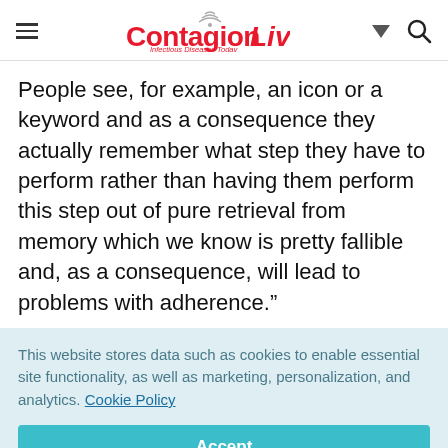ContagionLive — Infectious Diseases Today
People see, for example, an icon or a keyword and as a consequence they actually remember what step they have to perform rather than having them perform this step out of pure retrieval from memory which we know is pretty fallible and, as a consequence, will lead to problems with adherence.”
This website stores data such as cookies to enable essential site functionality, as well as marketing, personalization, and analytics. Cookie Policy
Accept
Deny